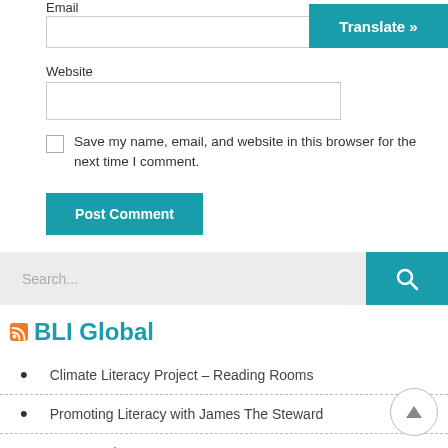Email
Website
Save my name, email, and website in this browser for the next time I comment.
Post Comment
Search...
BLI Global
Climate Literacy Project – Reading Rooms
Promoting Literacy with James The Steward
GYCAF Microgrants